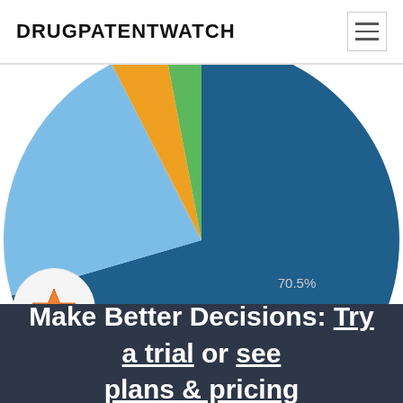DRUGPATENTWATCH
[Figure (pie-chart): Clinical Trial Sponsors]
[Figure (illustration): Star icon in a circle — DrugPatentWatch premium/favourites indicator]
Make Better Decisions: Try a trial or see plans & pricing